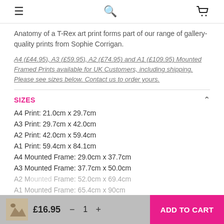≡  🔍  🛒
Anatomy of a T-Rex art print forms part of our range of gallery-quality prints from Sophie Corrigan.
A4 (£44.95), A3 (£59.95), A2 (£74.95) and A1 (£109.95) Mounted Framed Prints available for UK Customers, including shipping. Please see sizes below. Contact us to order yours.
SIZES
A4 Print: 21.0cm x 29.7cm
A3 Print: 29.7cm x 42.0cm
A2 Print: 42.0cm x 59.4cm
A1 Print: 59.4cm x 84.1cm
A4 Mounted Frame: 29.0cm x 37.7cm
A3 Mounted Frame: 37.7cm x 50.0cm
A2 Mounted Frame: 52.0cm x 69.4cm
A1 Mounted Frame: 65.4cm x 90cm
£16.95  — 1 +  ADD TO CART